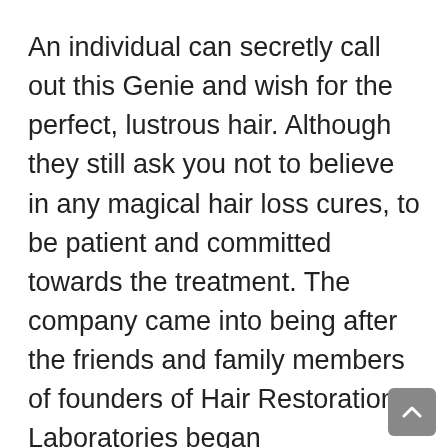An individual can secretly call out this Genie and wish for the perfect, lustrous hair. Although they still ask you not to believe in any magical hair loss cures, to be patient and committed towards the treatment. The company came into being after the friends and family members of founders of Hair Restoration Laboratories began experiencing hair loss and hair thinning problems. The company stands by its mission to solve the hair loss issues faced by almost half of the world population. Its only mission has been to intensely research and provide the most